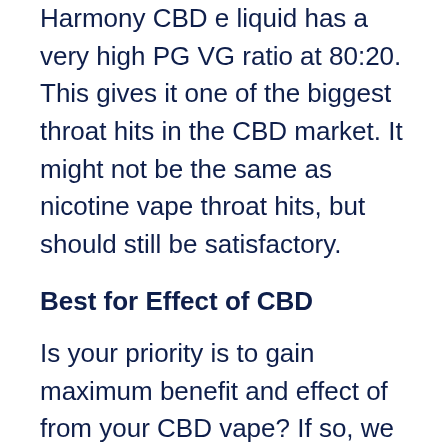Harmony CBD e liquid has a very high PG VG ratio at 80:20. This gives it one of the biggest throat hits in the CBD market. It might not be the same as nicotine vape throat hits, but should still be satisfactory.
Best for Effect of CBD
Is your priority is to gain maximum benefit and effect of from your CBD vape? If so, we recommend you opt for either Aztec CBD Vape Kit or the Orange County Distillate CBD Disposable Pen. But if you are after